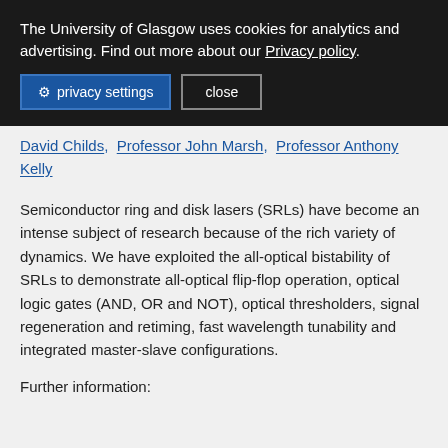The University of Glasgow uses cookies for analytics and advertising. Find out more about our Privacy policy.
privacy settings   close
David Childs, Professor John Marsh, Professor Anthony Kelly
Semiconductor ring and disk lasers (SRLs) have become an intense subject of research because of the rich variety of dynamics. We have exploited the all-optical bistability of SRLs to demonstrate all-optical flip-flop operation, optical logic gates (AND, OR and NOT), optical thresholders, signal regeneration and retiming, fast wavelength tunability and integrated master-slave configurations.
Further information: